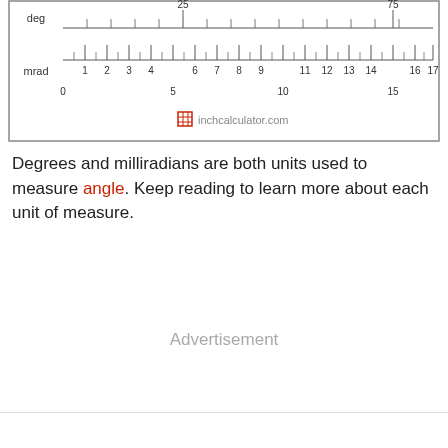[Figure (other): A dual-scale ruler showing degrees (deg) on top and milliradians (mrad) on bottom. The top scale shows degree markings including 25 and 75. The bottom scale shows mrad markings from 0 to 17 with subdivisions. The inchcalculator.com logo and watermark appear at the bottom of the ruler.]
Degrees and milliradians are both units used to measure angle. Keep reading to learn more about each unit of measure.
Advertisement